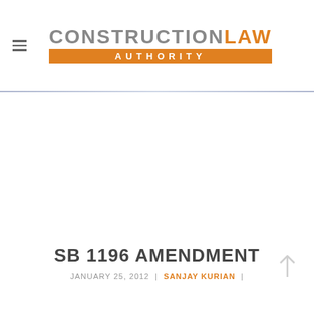CONSTRUCTION LAW AUTHORITY
SB 1196 AMENDMENT
JANUARY 25, 2012 | SANJAY KURIAN |